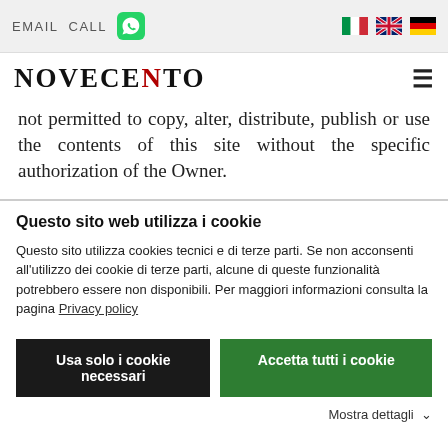EMAIL  CALL  [WhatsApp icon]  [IT flag]  [UK flag]  [DE flag]
[Figure (logo): Novecento logo with hamburger menu icon]
not permitted to copy, alter, distribute, publish or use the contents of this site without the specific authorization of the Owner.
Questo sito web utilizza i cookie
Questo sito utilizza cookies tecnici e di terze parti. Se non acconsenti all'utilizzo dei cookie di terze parti, alcune di queste funzionalità potrebbero essere non disponibili. Per maggiori informazioni consulta la pagina Privacy policy
Usa solo i cookie necessari   Accetta tutti i cookie
Mostra dettagli ∨